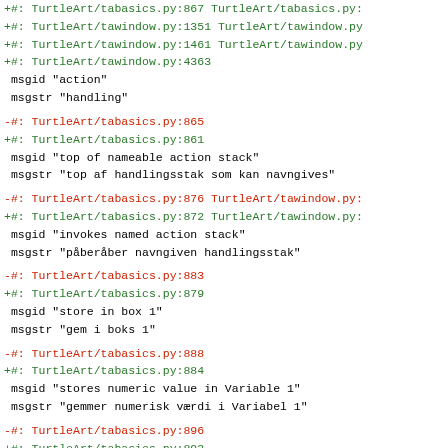+#: TurtleArt/tabasics.py:867 TurtleArt/tabasics.py:
+#: TurtleArt/tawindow.py:1351 TurtleArt/tawindow.py
+#: TurtleArt/tawindow.py:1461 TurtleArt/tawindow.py
+#: TurtleArt/tawindow.py:4363
 msgid "action"
 msgstr "handling"
-#: TurtleArt/tabasics.py:865
+#: TurtleArt/tabasics.py:861
 msgid "top of nameable action stack"
 msgstr "top af handlingsstak som kan navngives"
-#: TurtleArt/tabasics.py:876 TurtleArt/tawindow.py:
+#: TurtleArt/tabasics.py:872 TurtleArt/tawindow.py:
 msgid "invokes named action stack"
 msgstr "påberåber navngiven handlingsstak"
-#: TurtleArt/tabasics.py:883
+#: TurtleArt/tabasics.py:879
 msgid "store in box 1"
 msgstr "gem i boks 1"
-#: TurtleArt/tabasics.py:888
+#: TurtleArt/tabasics.py:884
 msgid "stores numeric value in Variable 1"
 msgstr "gemmer numerisk værdi i Variabel 1"
-#: TurtleArt/tabasics.py:896
+#: TurtleArt/tabasics.py:892
 msgid "store in box 2"